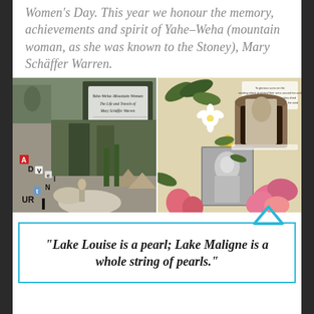Women's Day. This year we honour the memory, achievements and spirit of Yahe–Weha (mountain woman, as she was known to the Stoney), Mary Schäffer Warren.
[Figure (photo): Two collage images side by side. Left: black and white montage with text overlay reading 'Yahe-Weha–Mountain Woman, The Life and Travels of Mary Schäffer Warren, 1861–1939', with letter tiles spelling ADVENTURE and a person on horseback. Right: colorful collage with flowers (pink lilies, white flowers), greenery, and a vintage portrait photograph of a woman.]
"Lake Louise is a pearl; Lake Maligne is a whole string of pearls."